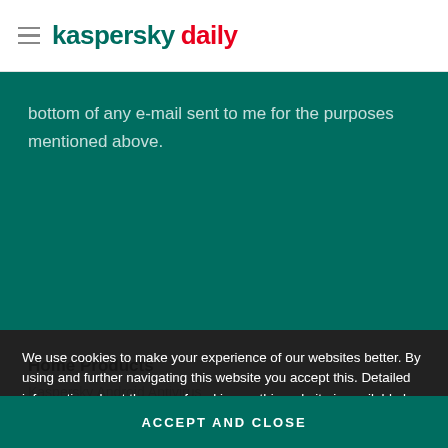kaspersky daily
bottom of any e-mail sent to me for the purposes mentioned above.
Home Products
Kaspersky Anti-Virus
Kaspersky Android Antivirus
Kaspersky Internet Security
Kaspersky Total Security
Kaspersky Security Cloud
We use cookies to make your experience of our websites better. By using and further navigating this website you accept this. Detailed information about the use of cookies on this website is available by clicking on more information.
ACCEPT AND CLOSE